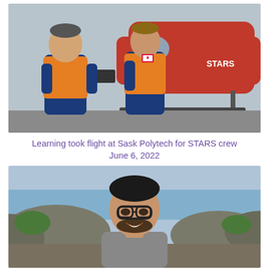[Figure (photo): Two STARS air ambulance crew members in blue flight suits and orange safety vests standing in front of a red STARS helicopter, appearing to discuss something, one holding a medical device.]
Learning took flight at Sask Polytech for STARS crew
June 6, 2022
[Figure (photo): Portrait of a young man with glasses and a beard, smiling, with a rocky waterfront landscape in the background.]